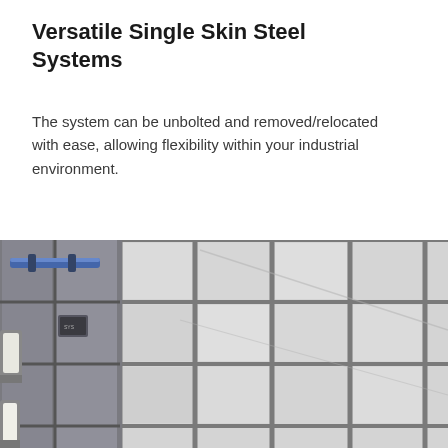Versatile Single Skin Steel Systems
The system can be unbolted and removed/relocated with ease, allowing flexibility within your industrial environment.
[Figure (photo): Interior industrial photograph showing a single skin steel panel wall system with a grid of light grey rectangular metal panels separated by darker grey framing/mullions. Blue pipes and lighting fixtures are visible on the left side of the image, mounted near the ceiling.]